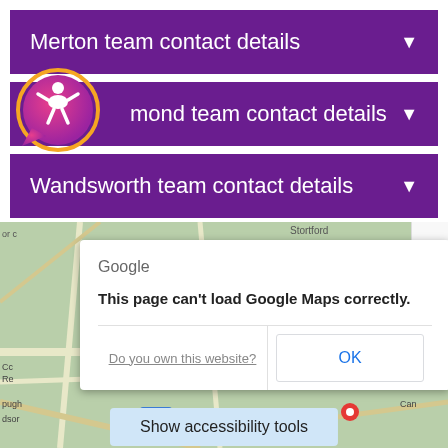Merton team contact details
mond team contact details
Wandsworth team contact details
[Figure (screenshot): Google Maps error dialog overlaid on a map background showing 'This page can't load Google Maps correctly.' with 'Do you own this website?' and 'OK' buttons]
Show accessibility tools